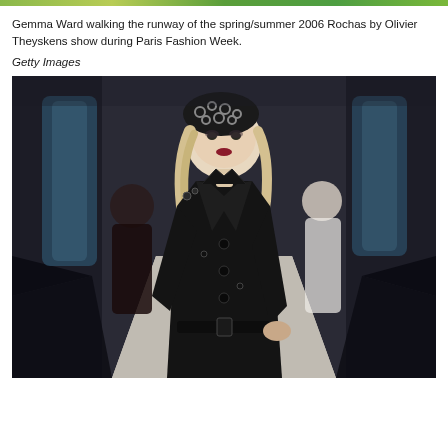Gemma Ward walking the runway of the spring/summer 2006 Rochas by Olivier Theyskens show during Paris Fashion Week.
Getty Images
[Figure (photo): Gemma Ward walking the runway at Paris Fashion Week in a black coat and black patterned beret, with other models and blurred blue stage columns in the background.]